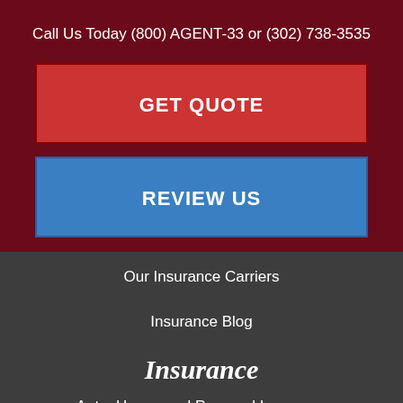Call Us Today (800) AGENT-33 or (302) 738-3535
GET QUOTE
REVIEW US
Our Insurance Carriers
Insurance Blog
Insurance
Auto, Home, and Personal Insurance